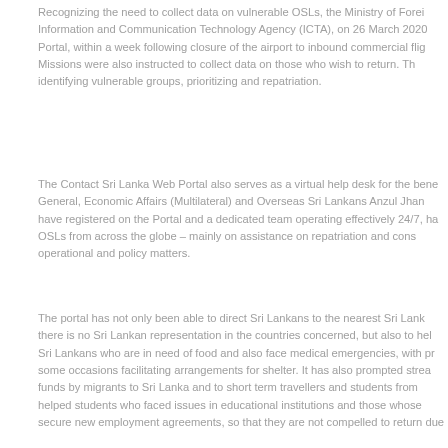Recognizing the need to collect data on vulnerable OSLs, the Ministry of Foreign Information and Communication Technology Agency (ICTA), on 26 March 2020 Portal, within a week following closure of the airport to inbound commercial flig Missions were also instructed to collect data on those who wish to return. Th identifying vulnerable groups, prioritizing and repatriation.
The Contact Sri Lanka Web Portal also serves as a virtual help desk for the bene General, Economic Affairs (Multilateral) and Overseas Sri Lankans Anzul Jhan have registered on the Portal and a dedicated team operating effectively 24/7, ha OSLs from across the globe – mainly on assistance on repatriation and cons operational and policy matters.
The portal has not only been able to direct Sri Lankans to the nearest Sri Lank there is no Sri Lankan representation in the countries concerned, but also to hel Sri Lankans who are in need of food and also face medical emergencies, with pr some occasions facilitating arrangements for shelter. It has also prompted strea funds by migrants to Sri Lanka and to short term travellers and students from helped students who faced issues in educational institutions and those whose secure new employment agreements, so that they are not compelled to return due
Participating in a television discussion on Sri Lanka Rupavahini Corporation on Ravinatha Aryasinha said, the 'Contact Sri Lanka' portal has become a reliable a planning and in fine-tuning the relations and direct communications between t